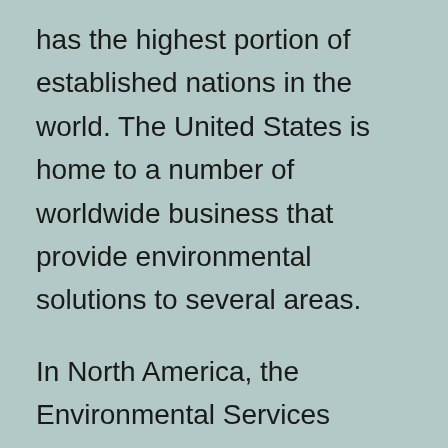has the highest portion of established nations in the world. The United States is home to a number of worldwide business that provide environmental solutions to several areas.
In North America, the Environmental Services sector is driven by the North American Open Market Agreement and the U.S.-Mexico border. Regulatory demands as well as environmental requirements in the region require that the environmental services sector has specialized workers. The range of the controlled market in this region includes groundwater well security and tracking, environmental management